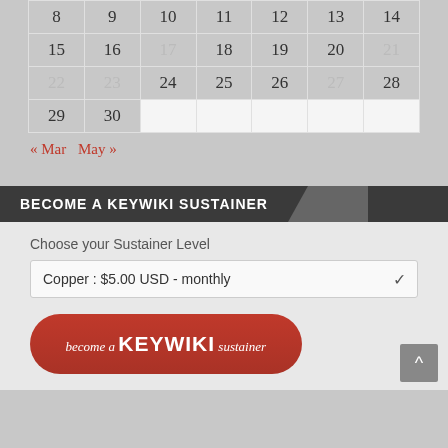| 8 | 9 | 10 | 11 | 12 | 13 | 14 |
| 15 | 16 | 17 | 18 | 19 | 20 | 21 |
| 22 | 23 | 24 | 25 | 26 | 27 | 28 |
| 29 | 30 |  |  |  |  |  |
« Mar   May »
BECOME A KEYWIKI SUSTAINER
Choose your Sustainer Level
Copper : $5.00 USD - monthly
[Figure (other): become a KEYWIKI sustainer button in red]
[Figure (other): Scroll to top arrow button]